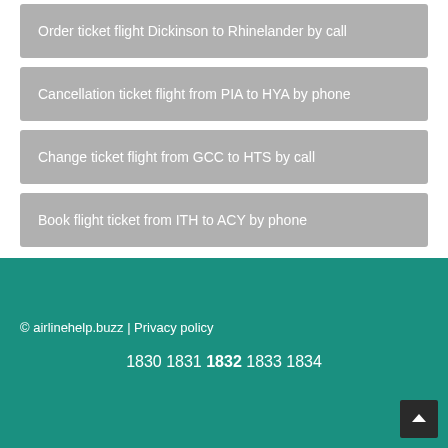Order ticket flight Dickinson to Rhinelander by call
Cancellation ticket flight from PIA to HYA by phone
Change ticket flight from GCC to HTS by call
Book flight ticket from ITH to ACY by phone
© airlinehelp.buzz | Privacy policy
1830 1831 1832 1833 1834